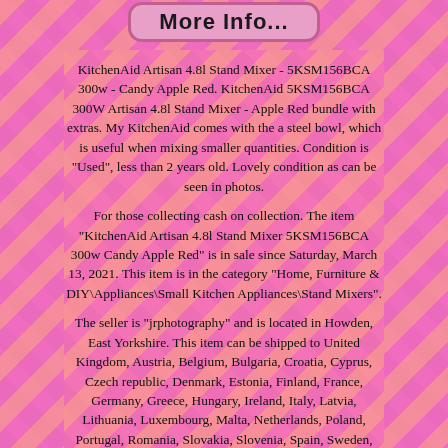[Figure (other): A pink rounded button labeled 'More Info...' in bold text]
KitchenAid Artisan 4.8l Stand Mixer - 5KSM156BCA 300w - Candy Apple Red. KitchenAid 5KSM156BCA 300W Artisan 4.8l Stand Mixer - Apple Red bundle with extras. My KitchenAid comes with the a steel bowl, which is useful when mixing smaller quantities. Condition is "Used", less than 2 years old. Lovely condition as can be seen in photos.
For those collecting cash on collection. The item "KitchenAid Artisan 4.8l Stand Mixer 5KSM156BCA 300w Candy Apple Red" is in sale since Saturday, March 13, 2021. This item is in the category "Home, Furniture & DIY\Appliances\Small Kitchen Appliances\Stand Mixers".
The seller is "jrphotography" and is located in Howden, East Yorkshire. This item can be shipped to United Kingdom, Austria, Belgium, Bulgaria, Croatia, Cyprus, Czech republic, Denmark, Estonia, Finland, France, Germany, Greece, Hungary, Ireland, Italy, Latvia, Lithuania, Luxembourg, Malta, Netherlands, Poland, Portugal, Romania, Slovakia, Slovenia, Spain, Sweden, Australia, United States, Bahrain, Canada, Japan, New Zealand, China, Israel, Hong Kong, Norway, Indonesia, Malaysia, Mexico, Singapore, South Korea, Switzerland,